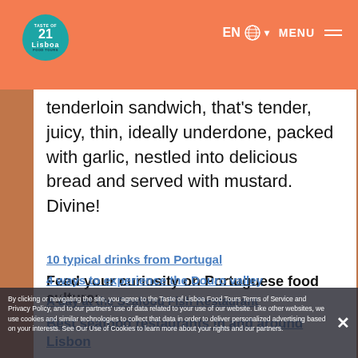EN MENU
tenderloin sandwich, that's tender, juicy, thin, ideally underdone, packed with garlic, nestled into delicious bread and served with mustard. Divine!
Feed your curiosity on Portuguese food culture:
Best seafood restaurants in and around Lisbon
10 typical drinks from Portugal
4 ways to experience the Douro valley
A day at the Seafood Fish Restaurant
By clicking or navigating the site, you agree to the Taste of Lisboa Food Tours Terms of Service and Privacy Policy, and to our partners' use of data related to your use of our website. Like other websites, we use cookies and similar technologies to collect that data in order to deliver personalized advertising based on your interests. See Our Use of Cookies to learn more about your rights and our partners.